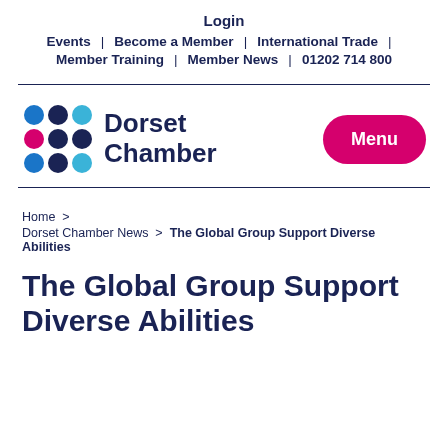Login | Events | Become a Member | International Trade | Member Training | Member News | 01202 714 800
[Figure (logo): Dorset Chamber logo with coloured dot grid and text 'Dorset Chamber']
Menu
Home > Dorset Chamber News > The Global Group Support Diverse Abilities
The Global Group Support Diverse Abilities